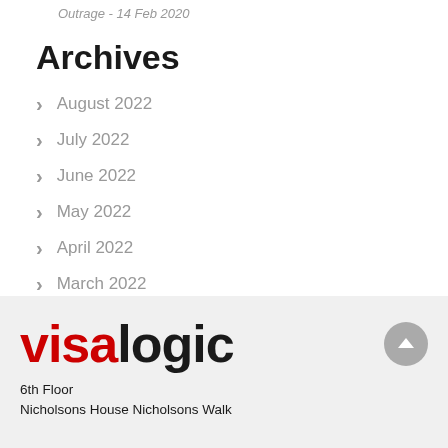Outrage - 14 Feb 2020
Archives
August 2022
July 2022
June 2022
May 2022
April 2022
March 2022
Show all archives
[Figure (logo): Visalogic logo with 'visa' in red and 'logic' in dark/black bold text, with a grey circular scroll-to-top button]
6th Floor
Nicholsons House Nicholsons Walk